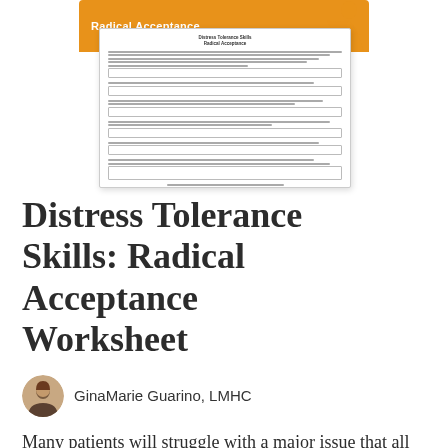[Figure (illustration): Orange banner with 'Radical Acceptance' text and a silhouette figure, above a worksheet preview card showing a distress tolerance worksheet]
Distress Tolerance Skills: Radical Acceptance Worksheet
GinaMarie Guarino, LMHC
Many patients will struggle with a major issue that all people are best coming to terms with: we cannot control what happens